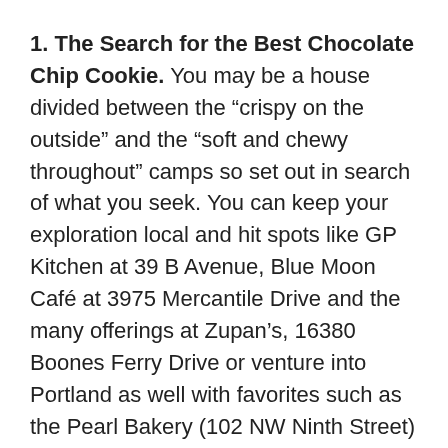1. The Search for the Best Chocolate Chip Cookie. You may be a house divided between the “crispy on the outside” and the “soft and chewy throughout” camps so set out in search of what you seek. You can keep your exploration local and hit spots like GP Kitchen at 39 B Avenue, Blue Moon Café at 3975 Mercantile Drive and the many offerings at Zupan’s, 16380 Boones Ferry Drive or venture into Portland as well with favorites such as the Pearl Bakery (102 NW Ninth Street) and Café Velo (600 SW Pine).
2. Footgolf. The Lake Oswego Golf Course is one of the few in the area that offers this fast growing sport that is family-friendly. Any soccer players in your family will love the chance to kick the ball into special holes laid out for footgolfers. All you need is a No. 5 soccer ball and athletic